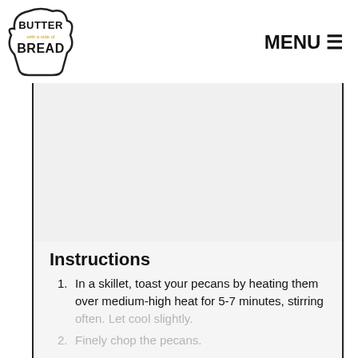[Figure (logo): Butter with a side of Bread logo - bread slice shape outline with text inside reading BUTTER with a side of BREAD]
MENU ☰
[Figure (photo): Large image placeholder area with light gray background]
Instructions
In a skillet, toast your pecans by heating them over medium-high heat for 5-7 minutes, stirring often. Let cool slightly.
Finely chop the pecans.